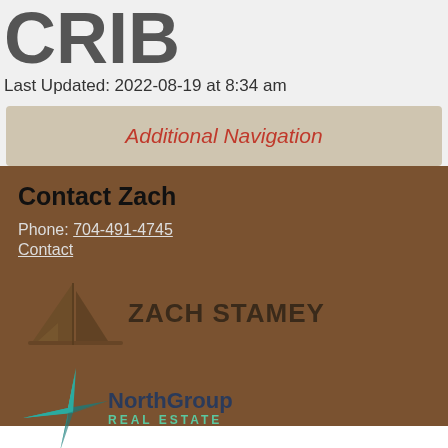CRIB
Last Updated: 2022-08-19 at 8:34 am
Additional Navigation
Contact Zach
Phone: 704-491-4745
Contact
[Figure (logo): Zach Stamey logo with sailboat icon and text ZACH STAMEY]
[Figure (logo): NorthGroup Real Estate logo with teal/green compass star icon]